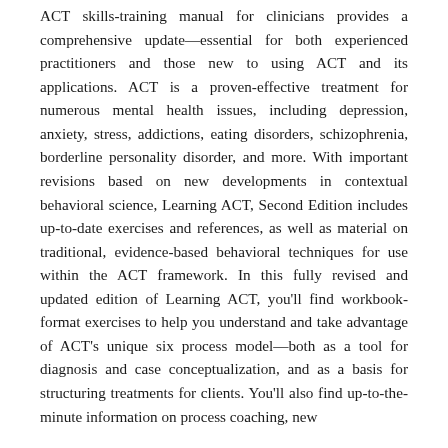ACT skills-training manual for clinicians provides a comprehensive update—essential for both experienced practitioners and those new to using ACT and its applications. ACT is a proven-effective treatment for numerous mental health issues, including depression, anxiety, stress, addictions, eating disorders, schizophrenia, borderline personality disorder, and more. With important revisions based on new developments in contextual behavioral science, Learning ACT, Second Edition includes up-to-date exercises and references, as well as material on traditional, evidence-based behavioral techniques for use within the ACT framework. In this fully revised and updated edition of Learning ACT, you'll find workbook-format exercises to help you understand and take advantage of ACT's unique six process model—both as a tool for diagnosis and case conceptualization, and as a basis for structuring treatments for clients. You'll also find up-to-the-minute information on process coaching, new